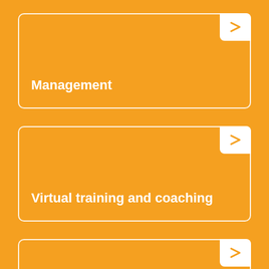Management
Virtual training and coaching
Personal development